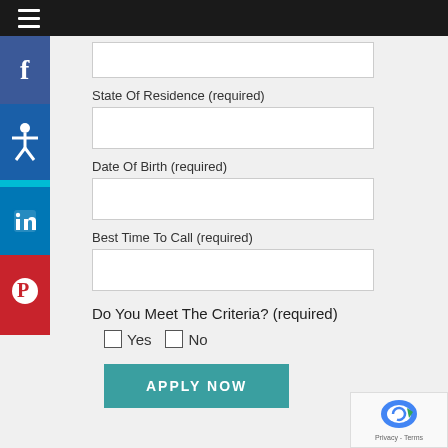[Figure (screenshot): Top navigation bar with hamburger menu icon on black background]
[Figure (infographic): Social media sidebar with Facebook, Accessibility, LinkedIn, and Pinterest icons]
(first input field - partially cut off at top)
State Of Residence (required)
Date Of Birth (required)
Best Time To Call (required)
Do You Meet The Criteria? (required)
Yes  No (checkbox options)
APPLY NOW
[Figure (logo): reCAPTCHA badge with Privacy - Terms text]